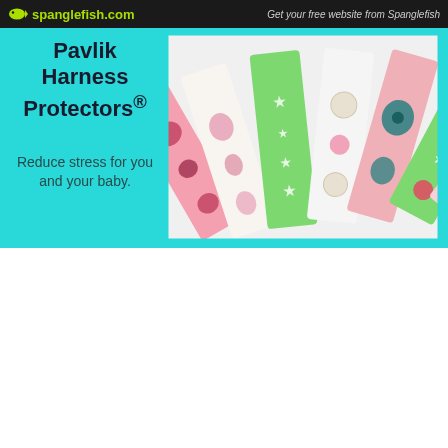spanglefish.com | Get your free website from Spanglefish
Pavlik Harness Protectors®
Reduce stress for you and your baby.
[Figure (photo): Several colorful patterned fabric harness protectors fanned out, showing green, pink, and white fabrics with floral and star patterns]